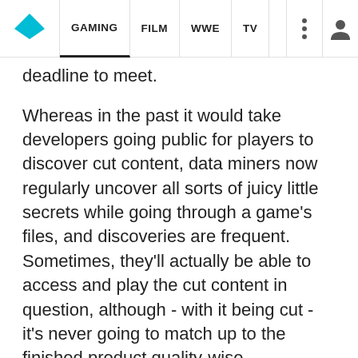GAMING | FILM | WWE | TV
deadline to meet.
Whereas in the past it would take developers going public for players to discover cut content, data miners now regularly uncover all sorts of juicy little secrets while going through a game's files, and discoveries are frequent. Sometimes, they'll actually be able to access and play the cut content in question, although - with it being cut - it's never going to match up to the finished product quality-wise.
All the same, it's fascinating to look at some of